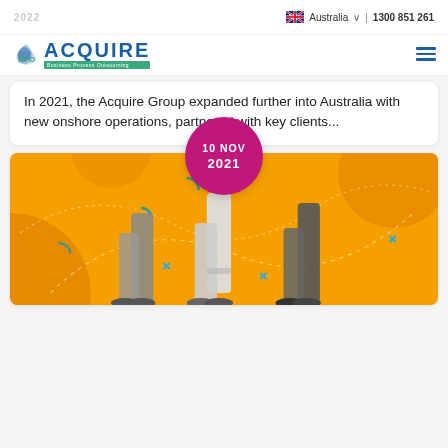2022 | Australia | 1300 851 261
[Figure (logo): Acquire Business Process Outsourcing logo with eagle graphic]
In 2021, the Acquire Group expanded further into Australia with new onshore operations, partnered with key clients...
10 NOV 2021
[Figure (photo): People walking/running shown from legs down against an orange illustrated background with decorative geometric shapes]